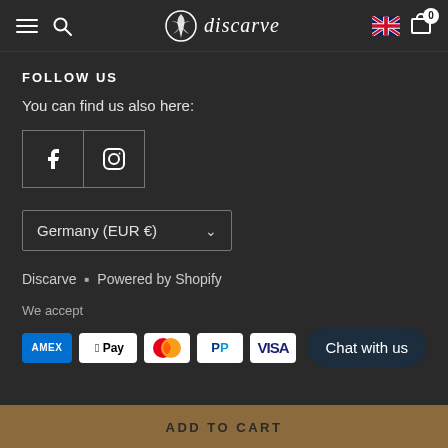discarve — navigation bar with hamburger, search, logo, UK flag, cart (0)
FOLLOW US
You can find us also here:
[Figure (other): Social media icons: Facebook and Instagram in bordered boxes]
Germany (EUR €)
Discarve · Powered by Shopify
We accept
[Figure (other): Payment method logos: American Express, Apple Pay, Mastercard, PayPal, Visa]
Chat with us
ADD TO CART